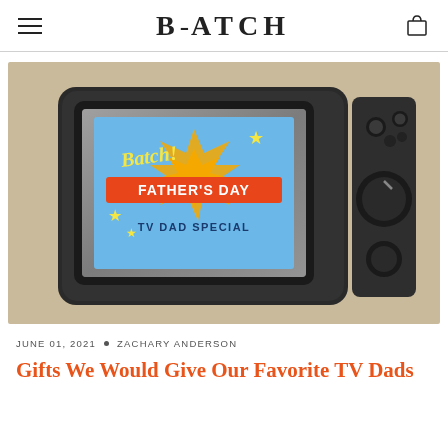BATCH
[Figure (photo): Vintage retro television set with a Father's Day TV Dad Special graphic on the screen showing 'Batch! FATHER'S DAY TV DAD SPECIAL' with stars and an orange/blue retro design, placed on a tan/beige background.]
JUNE 01, 2021 • ZACHARY ANDERSON
Gifts We Would Give Our Favorite TV Dads